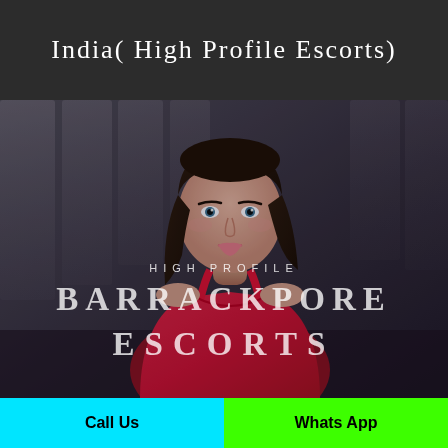India( High Profile Escorts)
[Figure (photo): A woman with dark hair wearing a red top, posed against a blurred dark background with panel-like structures. Overlay text reads 'HIGH PROFILE' and 'BARRACKPORE ESCORTS'.]
Call Us
Whats App